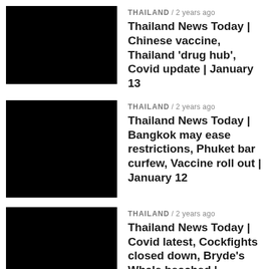[Figure (photo): Black thumbnail image for news item 1]
THAILAND / 2 years ago
Thailand News Today | Chinese vaccine, Thailand 'drug hub', Covid update | January 13
[Figure (photo): Black thumbnail image for news item 2]
THAILAND / 2 years ago
Thailand News Today | Bangkok may ease restrictions, Phuket bar curfew, Vaccine roll out | January 12
[Figure (photo): Black thumbnail image for news item 3]
THAILAND / 2 years ago
Thailand News Today | Covid latest, Cockfights closed down, Bryde's Whale beached | January 11